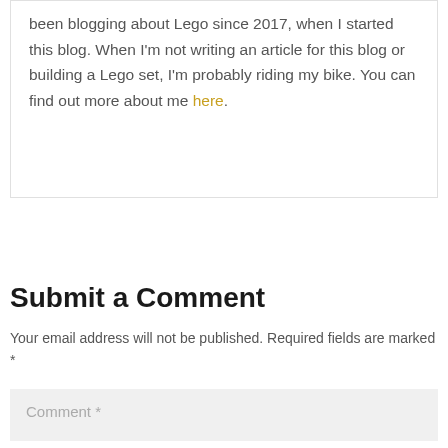been blogging about Lego since 2017, when I started this blog. When I'm not writing an article for this blog or building a Lego set, I'm probably riding my bike. You can find out more about me here.
Submit a Comment
Your email address will not be published. Required fields are marked *
Comment *